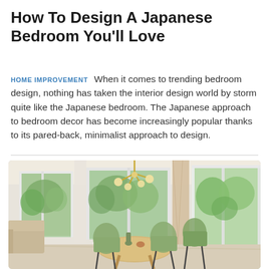How To Design A Japanese Bedroom You'll Love
HOME IMPROVEMENT   When it comes to trending bedroom design, nothing has taken the interior design world by storm quite like the Japanese bedroom. The Japanese approach to bedroom decor has become increasingly popular thanks to its pared-back, minimalist approach to design.
[Figure (photo): Interior photo of a modern minimalist dining room with a round wooden table, green upholstered chairs, a gold globe chandelier, large sliding glass doors with views to green trees outside, beige curtains, and a light wood floor.]